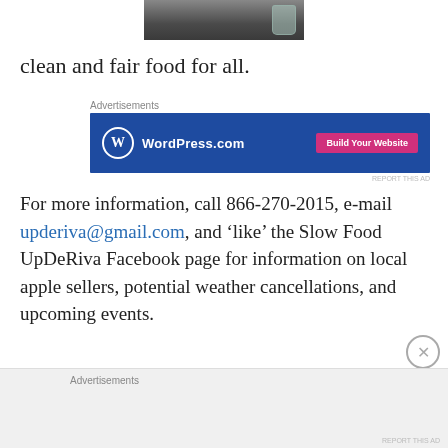[Figure (photo): Partial photo of food items on a surface, cropped at top]
clean and fair food for all.
[Figure (screenshot): WordPress.com advertisement banner with blue background and pink 'Build Your Website' button]
For more information, call 866-270-2015, e-mail upderiva@gmail.com, and ‘like’ the Slow Food UpDeRiva Facebook page for information on local apple sellers, potential weather cancellations, and upcoming events.
[Figure (screenshot): Second advertisement block with grey background]